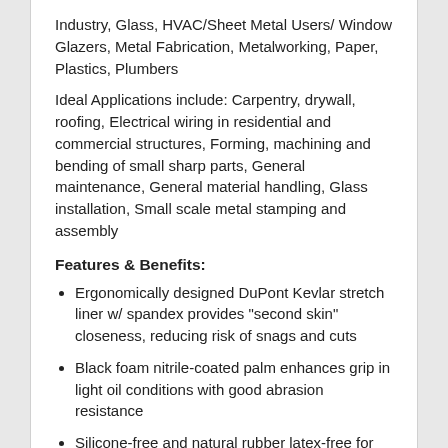Industry, Glass, HVAC/Sheet Metal Users/ Window Glazers, Metal Fabrication, Metalworking, Paper, Plastics, Plumbers
Ideal Applications include: Carpentry, drywall, roofing, Electrical wiring in residential and commercial structures, Forming, machining and bending of small sharp parts, General maintenance, General material handling, Glass installation, Small scale metal stamping and assembly
Features & Benefits:
Ergonomically designed DuPont Kevlar stretch liner w/ spandex provides "second skin" closeness, reducing risk of snags and cuts
Black foam nitrile-coated palm enhances grip in light oil conditions with good abrasion resistance
Silicone-free and natural rubber latex-free for worker and product protection
Related Items